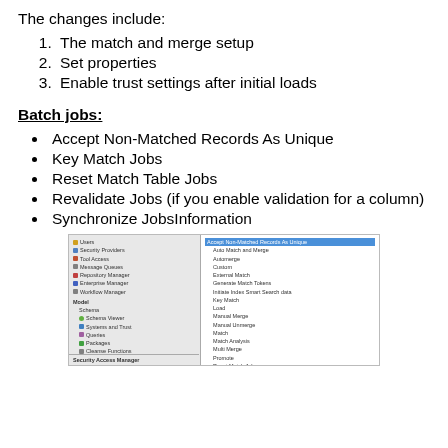The changes include:
The match and merge setup
Set properties
Enable trust settings after initial loads
Batch jobs:
Accept Non-Matched Records As Unique
Key Match Jobs
Reset Match Table Jobs
Revalidate Jobs (if you enable validation for a column)
Synchronize JobsInformation
[Figure (screenshot): A screenshot of a software application showing a tree-view navigation panel on the left with items such as Users, Security Providers, Tool Access, Message Queues, Repository Manager, Enterprise Manager, Workflow Manager, Model, Schema, Schema Viewer, Systems and Trust, Queries, Packages, Cleanse Functions, Mappings, Hierarchies, and Security Access Manager at the bottom. On the right panel, a list of batch job options is shown with 'Accept Non-Matched Records As Unique' highlighted in blue, followed by options including Auto Match and Merge, Automerge, Custom, External Match, Generate Match Tokens, Initiate Index Smart Search data, Key Match, Load, Manual Merge, Manual Unmerge, Match, Match Analysis, Multi Merge, Promote, Reset Match Jobs, Revalidate, Stage, Synchronize, Validate Foreign Key Relationships.]